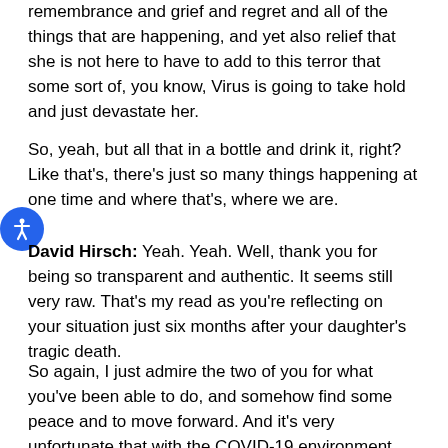remembrance and grief and regret and all of the things that are happening, and yet also relief that she is not here to have to add to this terror that some sort of, you know, Virus is going to take hold and just devastate her.
So, yeah, but all that in a bottle and drink it, right? Like that's, there's just so many things happening at one time and where that's, where we are.
David Hirsch: Yeah. Yeah. Well, thank you for being so transparent and authentic. It seems still very raw. That's my read as you're reflecting on your situation just six months after your daughter's tragic death.
So again, I just admire the two of you for what you've been able to do, and somehow find some peace and to move forward. And it's very unfortunate that with the COVID-19 environment, that we're all in that, you know, you're sort of stuck, right? Not a bad place to be stuck in Chicago, but you know, you need to move on, right.